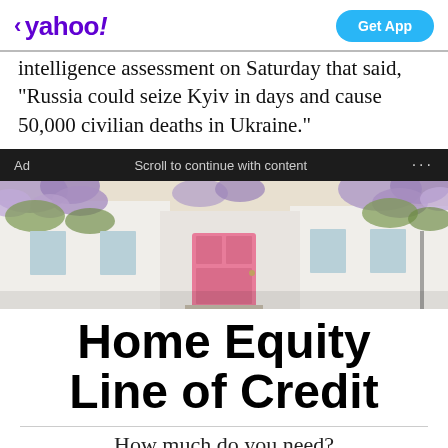< yahoo!   Get App
intelligence assessment on Saturday that said, "Russia could seize Kyiv in days and cause 50,000 civilian deaths in Ukraine."
Ad   Scroll to continue with content   ...
[Figure (photo): A house with a pink front door surrounded by purple wisteria flowers and white walls]
Home Equity Line of Credit
How much do you need?